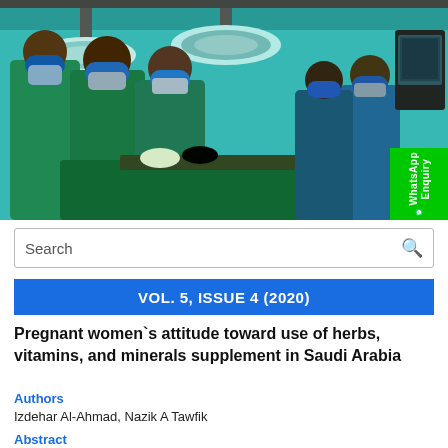[Figure (photo): Surgical team in green scrubs performing an operation in an operating room with overhead surgical lights and medical equipment]
WhatsApp Enquiry
Search
VOL. 5, ISSUE 4 (2020)
Pregnant women`s attitude toward use of herbs, vitamins, and minerals supplement in Saudi Arabia
Authors
Izdehar Al-Ahmad, Nazik A Tawfik
Abstract